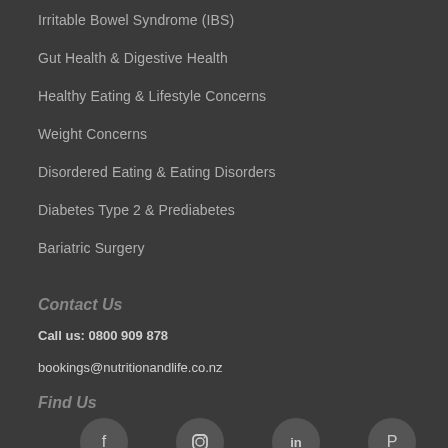Irritable Bowel Syndrome (IBS)
Gut Health & Digestive Health
Healthy Eating & Lifestyle Concerns
Weight Concerns
Disordered Eating & Eating Disorders
Diabetes Type 2 & Prediabetes
Bariatric Surgery
Contact Us
Call us: 0800 909 878
bookings@nutritionandlife.co.nz
Find Us
[Figure (other): Social media icons: Facebook, Instagram, LinkedIn, Pinterest]